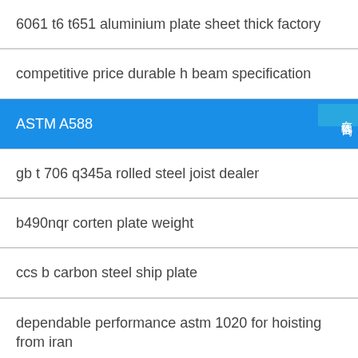6061 t6 t651 aluminium plate sheet thick factory
competitive price durable h beam specification
ASTM A588
gb t 706 q345a rolled steel joist dealer
b490nqr corten plate weight
ccs b carbon steel ship plate
dependable performance astm 1020 for hoisting from iran
gb t 706 q195 equal angle exporter